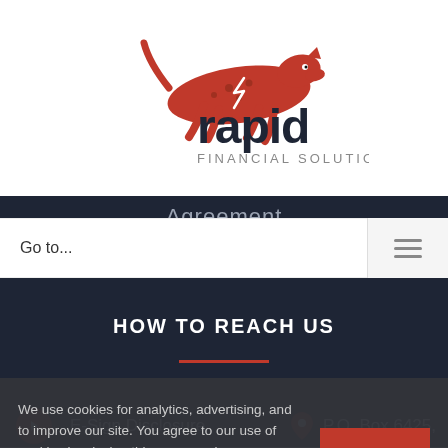[Figure (logo): Rapid Financial Solutions logo — red cheetah/panther leaping to the right, with 'rapid' in dark navy bold lowercase and 'FINANCIAL SOLUTIONS' in smaller text below]
Agreement
Go to...
HOW TO REACH US
E-Sign Disclosure
P.O. Box 6425,
We use cookies for analytics, advertising, and to improve our site. You agree to our use of cookies by closing this message box or continuing to use our site. You can read more and make your cookie choices here.
OK